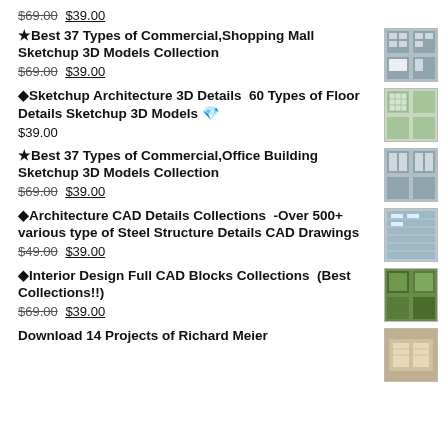$69.00 $39.00
★Best 37 Types of Commercial,Shopping Mall Sketchup 3D Models Collection $69.00 $39.00
◆Sketchup Architecture 3D Details  60 Types of Floor Details Sketchup 3D Models $39.00
★Best 37 Types of Commercial,Office Building Sketchup 3D Models Collection $69.00 $39.00
◆Architecture CAD Details Collections  -Over 500+ various type of Steel Structure Details CAD Drawings $49.00 $39.00
◆Interior Design Full CAD Blocks Collections  (Best Collections!!) $69.00 $39.00
Download 14 Projects of Richard Meier